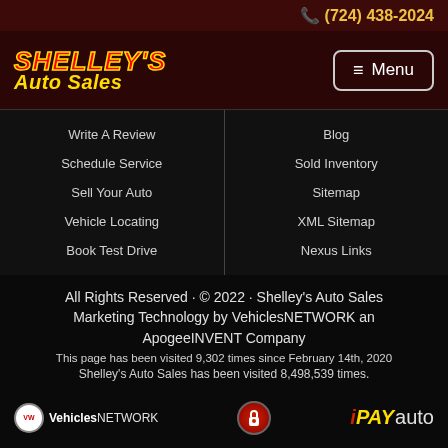(724) 438-2024
[Figure (logo): Shelley's Auto Sales logo with red italic text and yellow Auto Sales script, plus Menu button]
Write A Review
Schedule Service
Sell Your Auto
Vehicle Locating
Book Test Drive
Blog
Sold Inventory
Sitemap
XML Sitemap
Nexus Links
All Rights Reserved · © 2022 · Shelley's Auto Sales Marketing Technology by VehiclesNETWORK an ApogeeINVENT Company
This page has been visited 9,302 times since February 14th, 2020
Shelley's Auto Sales has been visited 8,498,539 times.
[Figure (logo): VehiclesNETWORK logo, lock shield icon, and iPAYauto logo in footer]